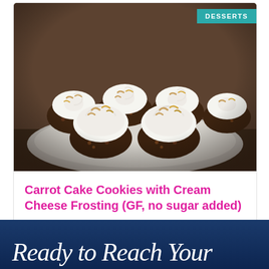[Figure (photo): Photo of carrot cake cookies topped with cream cheese frosting and toasted coconut on a plate, with a teal DESSERTS badge in the top right corner]
Carrot Cake Cookies with Cream Cheese Frosting (GF, no sugar added)
See All Recipes →
[Figure (photo): Bottom dark blue banner with white cursive script text beginning 'Ready to Reach Your']